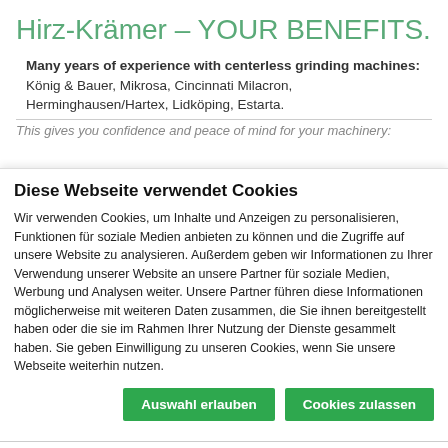Hirz-Krämer – YOUR BENEFITS.
Many years of experience with centerless grinding machines:
König & Bauer, Mikrosa, Cincinnati Milacron, Herminghausen/Hartex, Lidköping, Estarta.
This gives you confidence and peace of mind for your machinery:
Diese Webseite verwendet Cookies
Wir verwenden Cookies, um Inhalte und Anzeigen zu personalisieren, Funktionen für soziale Medien anbieten zu können und die Zugriffe auf unsere Website zu analysieren. Außerdem geben wir Informationen zu Ihrer Verwendung unserer Website an unsere Partner für soziale Medien, Werbung und Analysen weiter. Unsere Partner führen diese Informationen möglicherweise mit weiteren Daten zusammen, die Sie ihnen bereitgestellt haben oder die sie im Rahmen Ihrer Nutzung der Dienste gesammelt haben. Sie geben Einwilligung zu unseren Cookies, wenn Sie unsere Webseite weiterhin nutzen.
Auswahl erlauben
Cookies zulassen
Notwendig (checked), Präferenzen (unchecked), Statistiken (unchecked), Marketing (unchecked)
Details zeigen